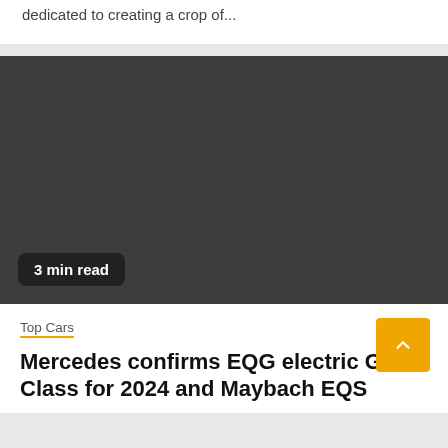dedicated to creating a crop of...
[Figure (photo): Dark gray placeholder image with a '3 min read' badge in the bottom left corner]
3 min read
Top Cars
Mercedes confirms EQG electric G-Class for 2024 and Maybach EQS